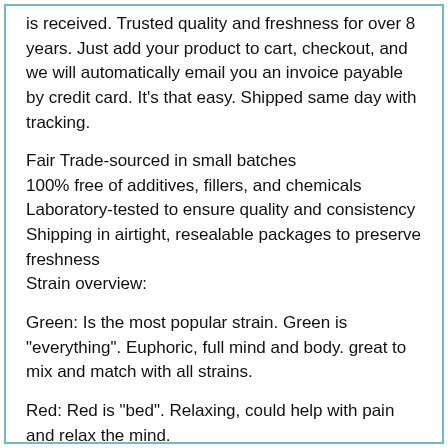is received. Trusted quality and freshness for over 8 years. Just add your product to cart, checkout, and we will automatically email you an invoice payable by credit card. It's that easy. Shipped same day with tracking.
Fair Trade-sourced in small batches
100% free of additives, fillers, and chemicals
Laboratory-tested to ensure quality and consistency
Shipping in airtight, resealable packages to preserve freshness
Strain overview:
Green: Is the most popular strain. Green is "everything". Euphoric, full mind and body. great to mix and match with all strains.
Red: Red is "bed". Relaxing, could help with pain and relax the mind.
White: White is "light". Uplifting, mood boosting, and energetic.